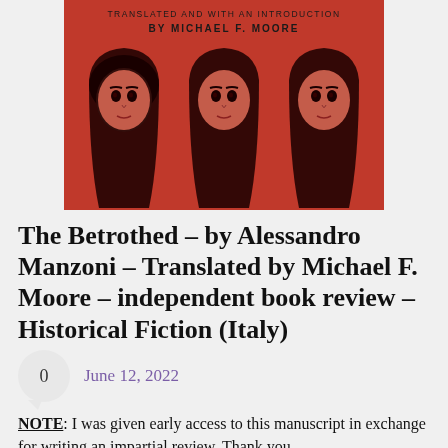[Figure (illustration): Book cover of The Betrothed on a salmon/red background showing three women in headscarves with the text 'Translated and with an Introduction by Michael F. Moore' at the top]
The Betrothed – by Alessandro Manzoni – Translated by Michael F. Moore – independent book review – Historical Fiction (Italy)
June 12, 2022
NOTE: I was given early access to this manuscript in exchange for writing an impartial review. Thank you